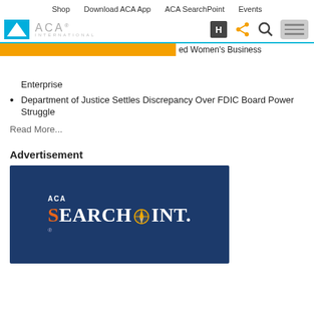Shop   Download ACA App   ACA SearchPoint   Events
[Figure (logo): ACA International logo with blue triangle icon and gray ACA International text]
[Figure (screenshot): Navigation icons: H box, share/network icon, search magnifier, hamburger menu]
ed Women's Business Enterprise
Department of Justice Settles Discrepancy Over FDIC Board Power Struggle
Read More...
Advertisement
[Figure (logo): ACA SearchPoint logo on dark navy blue background with orange and white text]